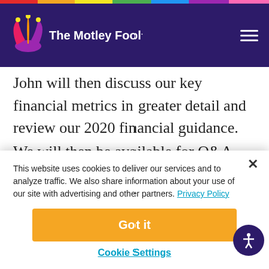The Motley Fool
John will then discuss our key financial metrics in greater detail and review our 2020 financial guidance. We will then be available for Q&A. During the call, we will reference certain non-GAAP measures. Reconciliations of these non-GAAP measures to the most directly comparable
This website uses cookies to deliver our services and to analyze traffic. We also share information about your use of our site with advertising and other partners. Privacy Policy
Got it
Cookie Settings